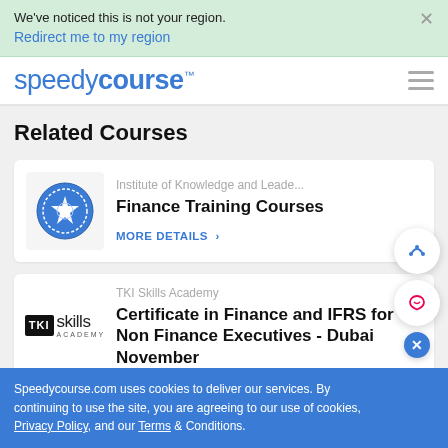We've noticed this is not your region. Redirect me to my region
[Figure (logo): SpeedyCourse logo with hamburger menu icon]
Related Courses
[Figure (logo): Institute of Knowledge and Leadership badge logo]
Institute of Knowledge and Leade...
Finance Training Courses
MORE DETAILS
[Figure (logo): TKI Skills Academy logo]
TKI Skills Academy
Certificate in Finance and IFRS for Non Finance Executives - Dubai November
Speedycourse.com uses cookies to deliver our services. By continuing to use the site, you are agreeing to our use of cookies, Privacy Policy, and our Terms & Conditions.